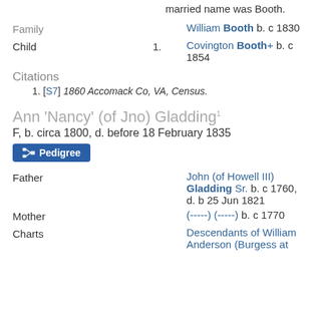married name was Booth.
Family   William Booth b. c 1830
Child   1.   Covington Booth+ b. c 1854
Citations
1. [S7] 1860 Accomack Co, VA, Census.
Ann 'Nancy' (of Jno) Gladding¹
F, b. circa 1800, d. before 18 February 1835
Pedigree
Father   John (of Howell III) Gladding Sr. b. c 1760, d. b 25 Jun 1821
Mother   (-----) (-----) b. c 1770
Charts   Descendants of William Anderson (Burgess at